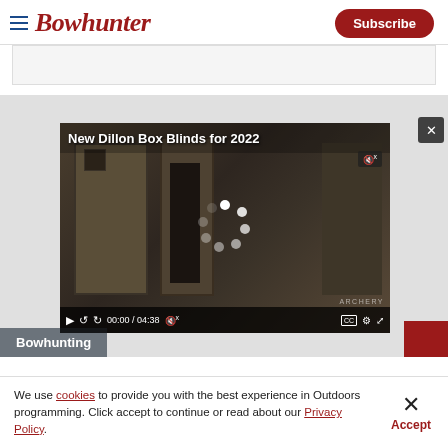Bowhunter — Subscribe
[Figure (screenshot): Video player showing 'New Dillon Box Blinds for 2022' with loading spinner, timestamp 00:00 / 04:38, video controls including play, rewind, forward, mute, CC, settings, fullscreen buttons. Bowhunting label overlay at bottom left.]
We use cookies to provide you with the best experience in Outdoors programming. Click accept to continue or read about our Privacy Policy.